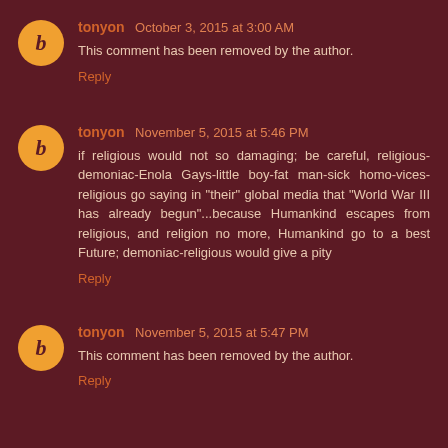tonyon  October 3, 2015 at 3:00 AM
This comment has been removed by the author.
Reply
tonyon  November 5, 2015 at 5:46 PM
if religious would not so damaging; be careful, religious-demoniac-Enola Gays-little boy-fat man-sick homo-vices-religious go saying in "their" global media that "World War III has already begun"...because Humankind escapes from religious, and religion no more, Humankind go to a best Future; demoniac-religious would give a pity
Reply
tonyon  November 5, 2015 at 5:47 PM
This comment has been removed by the author.
Reply